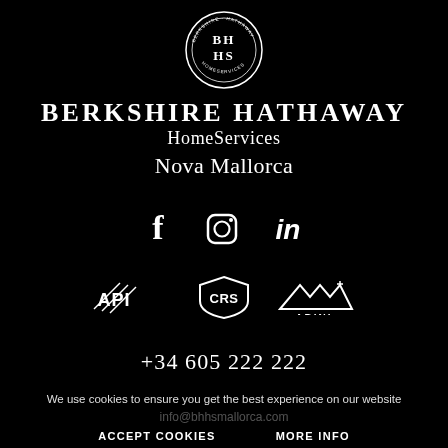[Figure (logo): Berkshire Hathaway HomeServices circular logo with BH HS initials]
BERKSHIRE HATHAWAY HomeServices Nova Mallorca
[Figure (infographic): Social media icons: Facebook, Instagram, LinkedIn]
[Figure (logo): Partner logos: API, CRS, ABINI]
+34 605 222 222
We use cookies to ensure you get the best experience on our website
info@bhhsmallorca.com
ACCEPT COOKIES    MORE INFO